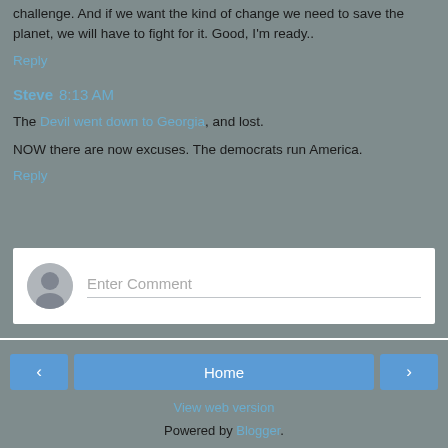challenge. And if we want the kind of change we need to save the planet, we will have to fight for it. Good, I'm ready..
Reply
Steve 8:13 AM
The Devil went down to Georgia, and lost.
NOW there are now excuses. The democrats run America.
Reply
[Figure (screenshot): Comment input box with avatar placeholder and 'Enter Comment' placeholder text]
< Home > View web version Powered by Blogger.